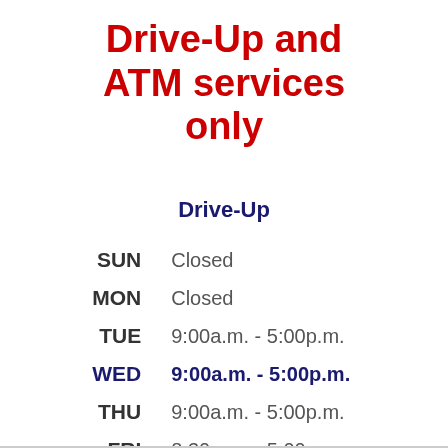Drive-Up and ATM services only
Drive-Up
| Day | Hours |
| --- | --- |
| SUN | Closed |
| MON | Closed |
| TUE | 9:00a.m. - 5:00p.m. |
| WED | 9:00a.m. - 5:00p.m. |
| THU | 9:00a.m. - 5:00p.m. |
| FRI | 8:30a.m. - 5:00p.m. |
| SAT | 9:00a.m. - 12:00p.m. |